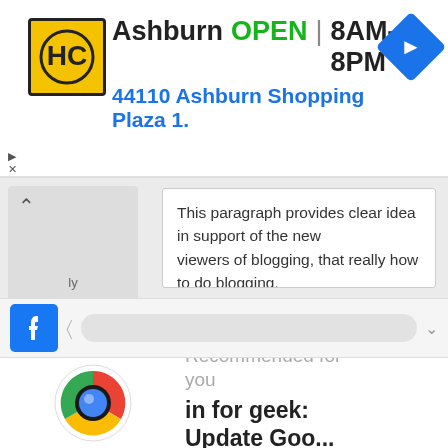[Figure (screenshot): Google ad banner showing HC hardware store logo, Ashburn location info: OPEN 8AM-8PM, address 44110 Ashburn Shopping Plaza 1., with navigation icon. Ad controls (play/close) on left side.]
[Figure (screenshot): Browser UI showing a partial tab with up chevron icon, and a white content box with text: 'This paragraph provides clear idea in support of the new viewers of blogging, that really how to do blogging.']
This paragraph provides clear idea in support of the new viewers of blogging, that really how to do blogging.
[Figure (screenshot): Browser notification bar with Facebook blue icon, left arrow, gray rounded input bar, and dropdown arrow.]
[Figure (screenshot): Bottom ad with Google Chrome logo on left, and text on right: 'Recommended for you' and 'in for geek: Update Goo...' with en.etetec.com URL and AddThis badge. Close X button top right.]